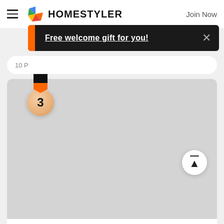HOMESTYLER   Join Now
Free welcome gift for you!
[Figure (screenshot): Homestyler interior design app screenshot showing a #HSDA2021 contest entry card with a number 3 bronze medal badge, a gray placeholder image area, and credit 'By Svetlana Karpova']
#HSDA2021
By Svetlana Karpova